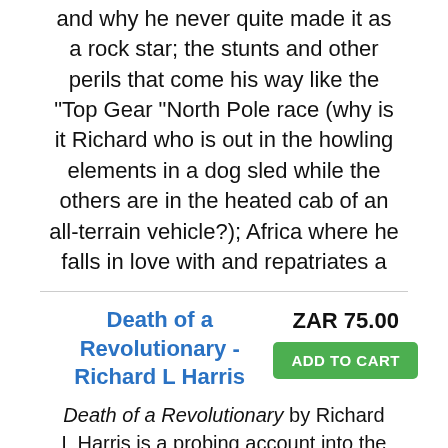and why he never quite made it as a rock star; the stunts and other perils that come his way like the "Top Gear "North Pole race (why is it Richard who is out in the howling elements in a dog sled while the others are in the heated cab of an all-terrain vehicle?); Africa where he falls in love with and repatriates a
Death of a Revolutionary - Richard L Harris
ZAR 75.00
ADD TO CART
Death of a Revolutionary by Richard L Harris is a probing account into the life and death of South American